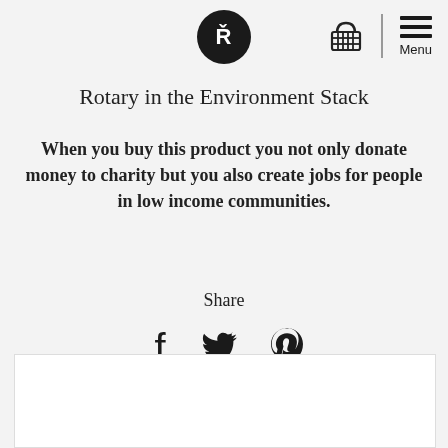Rotary logo, basket icon, Menu
Rotary in the Environment Stack
When you buy this product you not only donate money to charity but you also create jobs for people in low income communities.
Share
[Figure (other): Social share icons: Facebook, Twitter, Pinterest]
[Figure (other): White content box at bottom of page]